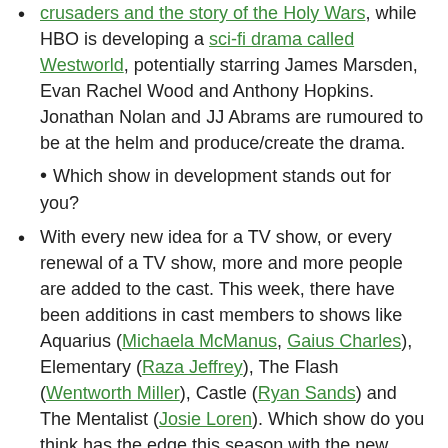crusaders and the story of the Holy Wars, while HBO is developing a sci-fi drama called Westworld, potentially starring James Marsden, Evan Rachel Wood and Anthony Hopkins. Jonathan Nolan and JJ Abrams are rumoured to be at the helm and produce/create the drama.
Which show in development stands out for you?
With every new idea for a TV show, or every renewal of a TV show, more and more people are added to the cast. This week, there have been additions in cast members to shows like Aquarius (Michaela McManus, Gaius Charles), Elementary (Raza Jeffrey), The Flash (Wentworth Miller), Castle (Ryan Sands) and The Mentalist (Josie Loren). Which show do you think has the edge this season with the new actors/characters for their upcoming season?
TNT has made the first round of summer TV show renewals for any cable network- The Last Ship and Major Crimes have been renewed for a second and fourth season respectively, while Falling Skies's fifth and final season will